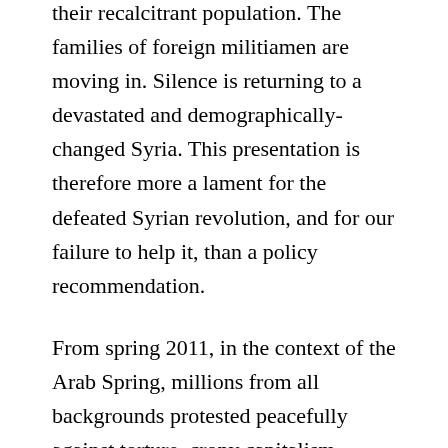their recalcitrant population. The families of foreign militiamen are moving in. Silence is returning to a devastated and demographically-changed Syria. This presentation is therefore more a lament for the defeated Syrian revolution, and for our failure to help it, than a policy recommendation.
From spring 2011, in the context of the Arab Spring, millions from all backgrounds protested peacefully against torture, crony capitalism, corruption and poverty, and for freedom, dignity, and social justice. They called for the unity of all sects and ethnicities.
The Assad regime responded with extreme repression, shooting protestors dead, torturing many, including children, to death, and prosecuting a mass rape campaign. By summer 2012 it had provoked an armed